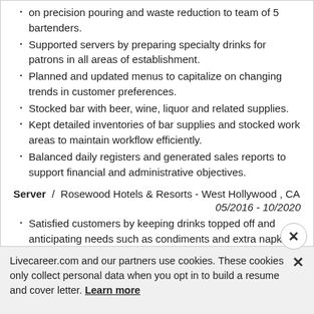on precision pouring and waste reduction to team of 5 bartenders.
Supported servers by preparing specialty drinks for patrons in all areas of establishment.
Planned and updated menus to capitalize on changing trends in customer preferences.
Stocked bar with beer, wine, liquor and related supplies.
Kept detailed inventories of bar supplies and stocked work areas to maintain workflow efficiently.
Balanced daily registers and generated sales reports to support financial and administrative objectives.
Server / Rosewood Hotels & Resorts - West Hollywood , CA
05/2016 - 10/2020
Satisfied customers by keeping drinks topped off and anticipating needs such as condiments and extra napkins.
Educated guests on daily specials and menu offerings such as appetizers, entrees and desserts.
Operated POS terminals to input orders, split bills and
Livecareer.com and our partners use cookies. These cookies only collect personal data when you opt in to build a resume and cover letter. Learn more